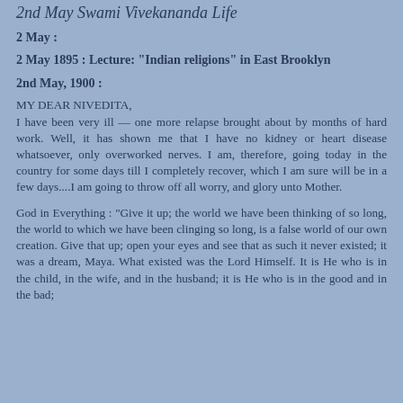2nd May Swami Vivekananda Life
2 May :
2 May 1895 : Lecture: "Indian religions" in East Brooklyn
2nd May, 1900 :
MY DEAR NIVEDITA,
I have been very ill — one more relapse brought about by months of hard work. Well, it has shown me that I have no kidney or heart disease whatsoever, only overworked nerves. I am, therefore, going today in the country for some days till I completely recover, which I am sure will be in a few days....I am going to throw off all worry, and glory unto Mother.
God in Everything : "Give it up; the world we have been thinking of so long, the world to which we have been clinging so long, is a false world of our own creation. Give that up; open your eyes and see that as such it never existed; it was a dream, Maya. What existed was the Lord Himself. It is He who is in the child, in the wife, and in the husband; it is He who is in the good and in the bad;